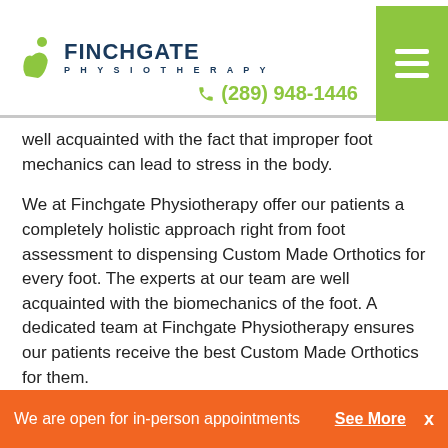[Figure (logo): Finchgate Physiotherapy logo with green figure icon and navy blue text]
well acquainted with the fact that improper foot mechanics can lead to stress in the body.
We at Finchgate Physiotherapy offer our patients a completely holistic approach right from foot assessment to dispensing Custom Made Orthotics for every foot. The experts at our team are well acquainted with the biomechanics of the foot. A dedicated team at Finchgate Physiotherapy ensures our patients receive the best Custom Made Orthotics for them.
The objective is to align the foot to reduce strain and stress. In general Custom Made Orthotics are very much like the shoe. insoles are completely invisible. The perfect Custom
We are open for in-person appointments  See More  x